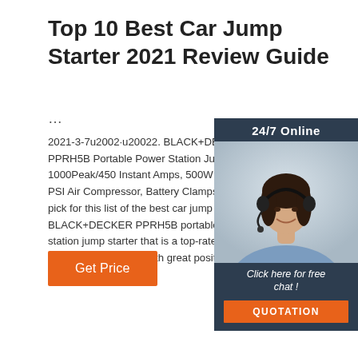Top 10 Best Car Jump Starter 2021 Review Guide
...
2021-3-7u2002·u20022. BLACK+DECKER PPRH5B Portable Power Station Jump Sta 1000Peak/450 Instant Amps, 500W Invert PSI Air Compressor, Battery Clamps. Our pick for this list of the best car jump starte BLACK+DECKER PPRH5B portable powe station jump starter that is a top-rated batt charger jump starter with great positive re from the buyers.
[Figure (photo): Sidebar widget showing a woman with headset, 24/7 Online chat support with Click here for free chat text and QUOTATION button]
Get Price
[Figure (logo): TOP logo with orange dots arranged in triangle above the word TOP in orange]